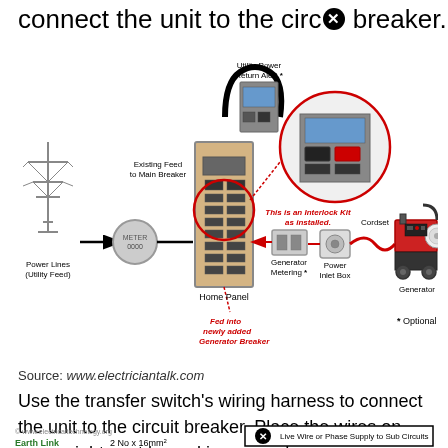connect the unit to the circ❌ breaker.
[Figure (engineering-diagram): Wiring diagram showing connection from Power Lines (Utility Feed) through a meter to Home Panel, with a Utility Power Return Alert device on top, an interlock kit installed in the panel (shown in zoom circle), and connections going right to Generator Metering, Power Inlet Box, then via Cordset to Generator. Red italic annotation: 'This is an Interlock Kit as installed.' and 'Fed into newly added Generator Breaker'. Asterisk note: * Optional.]
Source: www.electriciantalk.com
Use the transfer switch's wiring harness to connect the unit to the circuit breaker. Place the wires on upper right spot by making enough room.
[Figure (engineering-diagram): Partial bottom diagram showing Earth Link label, '2 No x 16mm²' text, copyright www.electricaltechnology.org, and a panel with 'Live Wire or Phase Supply to Sub Circuits' label with an X symbol.]